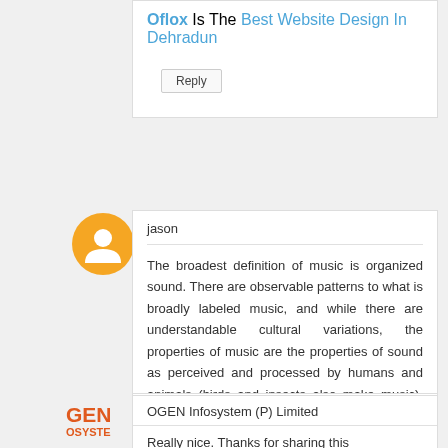Oflox Is The Best Website Design In Dehradun
Reply
[Figure (logo): Blogger orange circle avatar icon]
jason
The broadest definition of music is organized sound. There are observable patterns to what is broadly labeled music, and while there are understandable cultural variations, the properties of music are the properties of sound as perceived and processed by humans and animals (birds and insects also make music). Missgammour
Reply
[Figure (logo): OGEN Infosystem logo with orange text]
OGEN Infosystem (P) Limited
Really nice. Thanks for sharing this